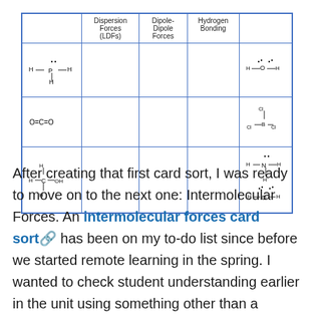[Figure (table-as-image): A table showing molecular structures in rows and column headers: Dispersion Forces (LDFs), Dipole-Dipole Forces, Hydrogen Bonding, and a column with Lewis structures. Rows show H-P-H, O=C=O, and H-C-OH molecules. The rightmost column shows H2O, BCl3, NH3, and H2O Lewis structures.]
After creating that first card sort, I was ready to move on to the next one: Intermolecular Forces. An intermolecular forces card sort has been on my to-do list since before we started remote learning in the spring. I wanted to check student understanding earlier in the unit using something other than a worksheet, so a card sort made sense. I decided with this IMF Card Sort to bring in other topics that